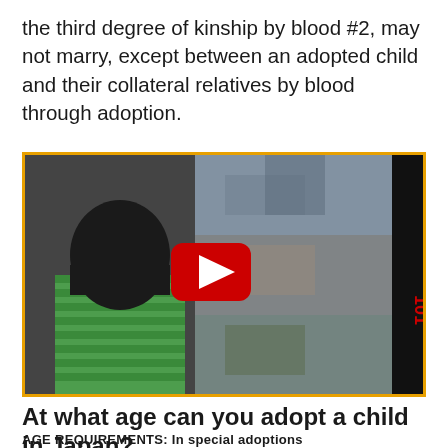the third degree of kinship by blood #2, may not marry, except between an adopted child and their collateral relatives by blood through adoption.
[Figure (photo): YouTube video thumbnail showing a child in a green striped shirt viewed from behind, looking at a world map or crowd imagery. A red YouTube play button is centered on the video. A dark vertical bar on the right edge shows '101 EAST' branding.]
At what age can you adopt a child in Japan?
AGE REQUIREMENTS: In special adoptions